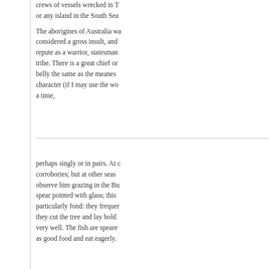crews of vessels wrecked in T or any island in the South Sea
The aborigines of Australia wa considered a gross insult, and repute as a warrior, statesman tribe. There is a great chief or belly the same as the meanes character (if I may use the wo a time,
perhaps singly or in pairs. At corrobories; but at other seas observe him grazing in the Bu spear pointed with glass; this particularly fond: they frequer they cut the tree and lay hold very well. The fish are speare as good food and eat eagerly.